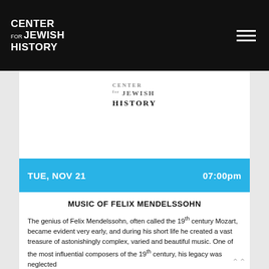CENTER FOR JEWISH HISTORY
[Figure (logo): Center for Jewish History logo in black and white, showing stacked text: CENTER FOR JEWISH HISTORY]
TUE, NOV 21  07:00pm
MUSIC OF FELIX MENDELSSOHN
The genius of Felix Mendelssohn, often called the 19th century Mozart, became evident very early, and during his short life he created a vast treasure of astonishingly complex, varied and beautiful music. One of the most influential composers of the 19th century, his legacy was neglected